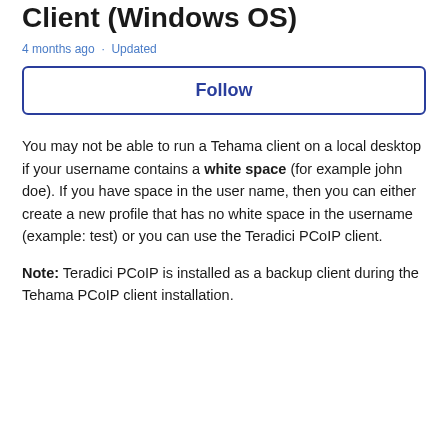Client (Windows OS)
4 months ago · Updated
Follow
You may not be able to run a Tehama client on a local desktop if your username contains a white space (for example john doe). If you have space in the user name, then you can either create a new profile that has no white space in the username (example: test) or you can use the Teradici PCoIP client.
Note: Teradici PCoIP is installed as a backup client during the Tehama PCoIP client installation.